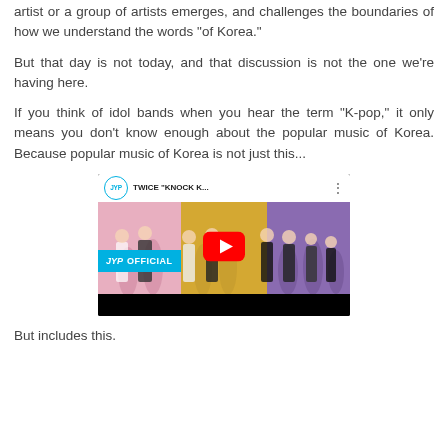artist or a group of artists emerges, and challenges the boundaries of how we understand the words "of Korea."
But that day is not today, and that discussion is not the one we're having here.
If you think of idol bands when you hear the term "K-pop," it only means you don't know enough about the popular music of Korea. Because popular music of Korea is not just this...
[Figure (screenshot): Embedded YouTube video thumbnail showing TWICE 'KNOCK K...' music video from JYP Official channel. Three background panels in pink, yellow, and purple with dancing figures and a red YouTube play button in the center.]
But includes this.